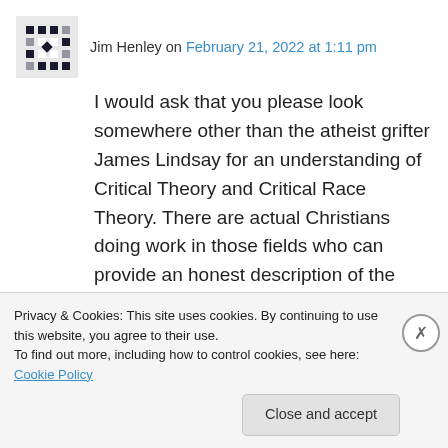Jim Henley on February 21, 2022 at 1:11 pm
I would ask that you please look somewhere other than the atheist grifter James Lindsay for an understanding of Critical Theory and Critical Race Theory. There are actual Christians doing work in those fields who can provide an honest description of the material. Repeating Lindsay's misrepresentations may get agreement and support from certain corners of faith, but it does not promote truth and right understanding.
Privacy & Cookies: This site uses cookies. By continuing to use this website, you agree to their use.
To find out more, including how to control cookies, see here: Cookie Policy
Close and accept